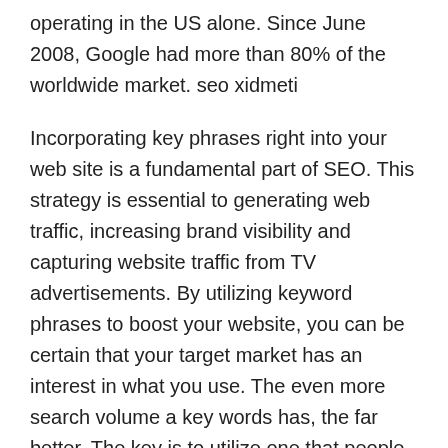operating in the US alone. Since June 2008, Google had more than 80% of the worldwide market. seo xidmeti
Incorporating key phrases right into your web site is a fundamental part of SEO. This strategy is essential to generating web traffic, increasing brand visibility and capturing website traffic from TV advertisements. By utilizing keyword phrases to boost your website, you can be certain that your target market has an interest in what you use. The even more search volume a key words has, the far better. The key is to utilize one that people actually search for. If you don't recognize what those keywords are, you can start by researching them making use of tools like the Key words Magic Tool or the keyword summary device.
Along with study and also key words research study,